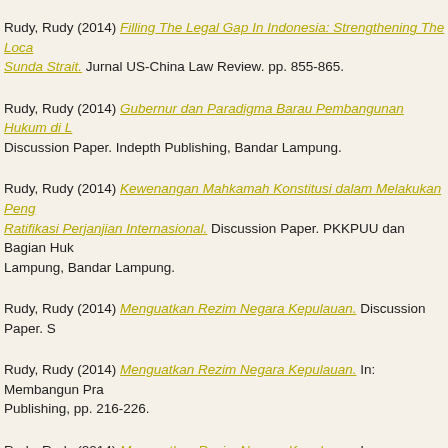Rudy, Rudy (2014) Filling The Legal Gap In Indonesia: Strengthening The Local Regulation on Sunda Strait. Jurnal US-China Law Review. pp. 855-865.
Rudy, Rudy (2014) Gubernur dan Paradigma Barau Pembangunan Hukum di L Discussion Paper. Indepth Publishing, Bandar Lampung.
Rudy, Rudy (2014) Kewenangan Mahkamah Konstitusi dalam Melakukan Peng Ratifikasi Perjanjian Internasional. Discussion Paper. PKKPUU dan Bagian Huk Lampung, Bandar Lampung.
Rudy, Rudy (2014) Menguatkan Rezim Negara Kepulauan. Discussion Paper. S
Rudy, Rudy (2014) Menguatkan Rezim Negara Kepulauan. In: Membangun Pra Publishing, pp. 216-226.
Rudy, Rudy (2014) Menguatkan Rezim Negara Kepulauan. In: Membangun Pra Publishing.